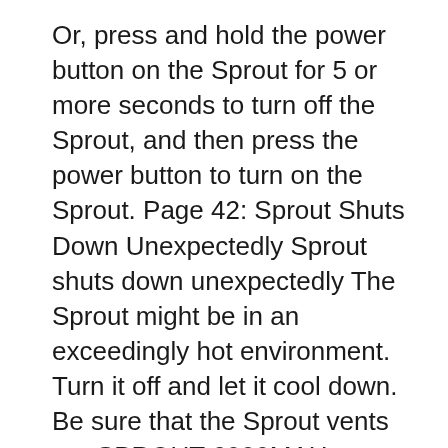Or, press and hold the power button on the Sprout for 5 or more seconds to turn off the Sprout, and then press the power button to turn on the Sprout. Page 42: Sprout Shuts Down Unexpectedly Sprout shuts down unexpectedly The Sprout might be in an exceedingly hot environment. Turn it off and let it cool down. Be sure that the Sprout vents are SPROUT 6000MAH POWERBANK Slim Elite Series In Box (Blue) / VGC - Aussie Stock ! - $28.76. Track Page Views With Auctiva's FREE Counter Powered by eBay Turbo Lister 123680942633
With tzumi's 15,000mAh PocketJuice Endurance Slim Portable Charger you